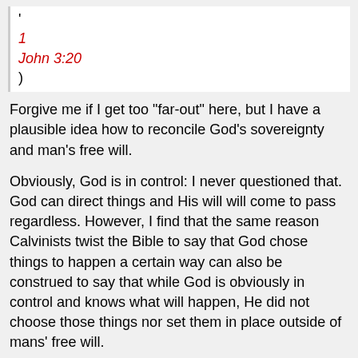'
1
John 3:20
)
Forgive me if I get too "far-out" here, but I have a plausible idea how to reconcile God's sovereignty and man's free will.
Obviously, God is in control: I never questioned that. God can direct things and His will will come to pass regardless. However, I find that the same reason Calvinists twist the Bible to say that God chose things to happen a certain way can also be construed to say that while God is obviously in control and knows what will happen, He did not choose those things nor set them in place outside of mans' free will.
Now it's easy to say that outside of our comprehension, God does know everything that has happened and will happen because of His place outside of our existence within time. However, I have another way of looking at things that I hope some will at least find interesting, if perhaps not totally compelling.
Imagine that every decision that a man or woman makes